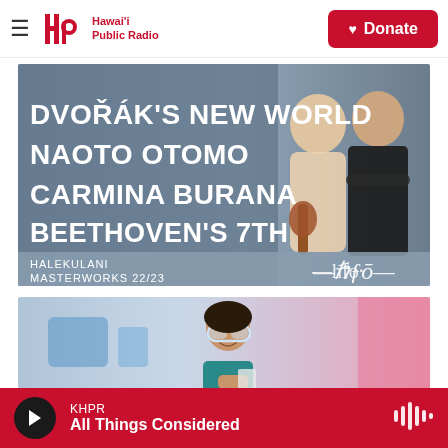Hawai'i Public Radio — Donate
[Figure (photo): Concert promotion banner: Halekulani Masterworks 22/23 season — DVOŘÁK'S NEW WORLD, NAOTO OTOMO, CARMINA BURANA, BEETHOVEN'S 7TH. Features two musicians, one holding a violin, against a blue-grey background with HSO logo signature.]
[Figure (photo): Young girl wearing safety goggles smiling in what appears to be a science lab or classroom setting.]
KHPR — All Things Considered